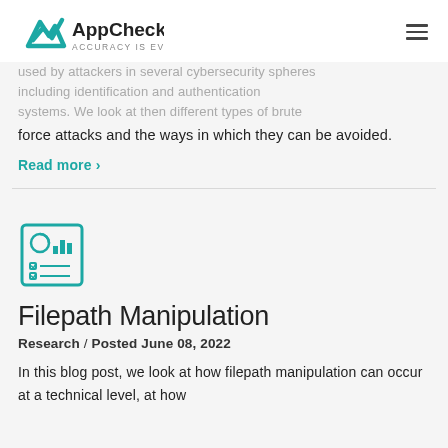AppCheck — ACCURACY IS EVERYTHING
used by attackers in several cybersecurity spheres including identification and authentication systems. We look at then different types of brute force attacks and the ways in which they can be avoided.
Read more ›
[Figure (illustration): AppCheck blog post icon showing a document with a pie chart and checklist items]
Filepath Manipulation
Research / Posted June 08, 2022
In this blog post, we look at how filepath manipulation can occur at a technical level, at how attackers can exploit it and its capabilities